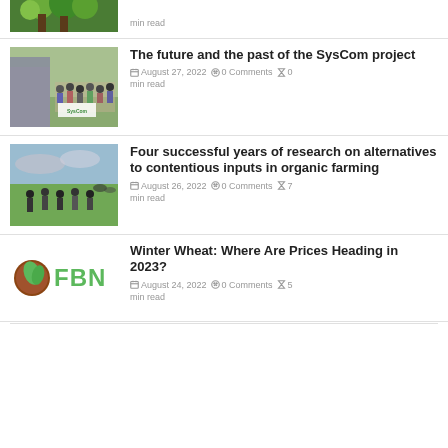[Figure (photo): Partial green tomatoes photo at top]
min read
[Figure (photo): Group photo of SysCom project team members holding a banner]
The future and the past of the SysCom project
August 27, 2022   0 Comments   0 min read
[Figure (photo): People standing in a field during farm research]
Four successful years of research on alternatives to contentious inputs in organic farming
August 26, 2022   0 Comments   7 min read
[Figure (logo): FBN (Farmers Business Network) logo]
Winter Wheat: Where Are Prices Heading in 2023?
August 24, 2022   0 Comments   5 min read